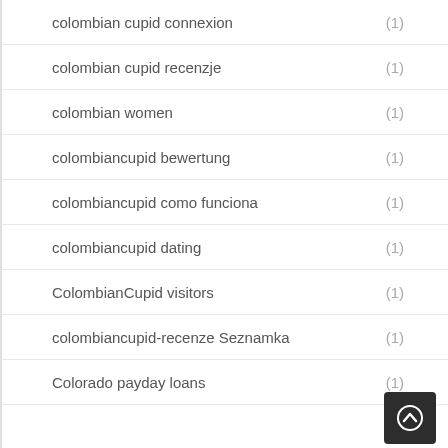colombian cupid connexion (1)
colombian cupid recenzje (1)
colombian women (1)
colombiancupid bewertung (1)
colombiancupid como funciona (1)
colombiancupid dating (1)
ColombianCupid visitors (1)
colombiancupid-recenze Seznamka (1)
Colorado payday loans (1)